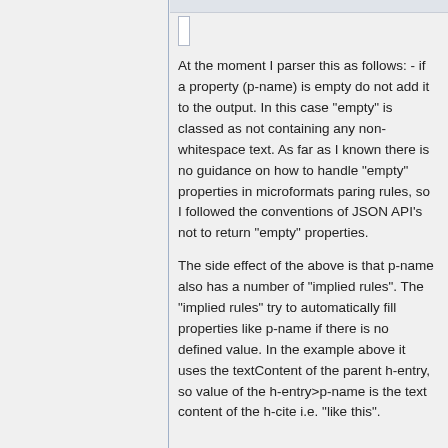At the moment I parser this as follows: - if a property (p-name) is empty do not add it to the output. In this case "empty" is classed as not containing any non-whitespace text. As far as I known there is no guidance on how to handle "empty" properties in microformats paring rules, so I followed the conventions of JSON API's not to return "empty" properties.
The side effect of the above is that p-name also has a number of "implied rules". The "implied rules" try to automatically fill properties like p-name if there is no defined value. In the example above it uses the textContent of the parent h-entry, so value of the h-entry>p-name is the text content of the h-cite i.e. "like this".